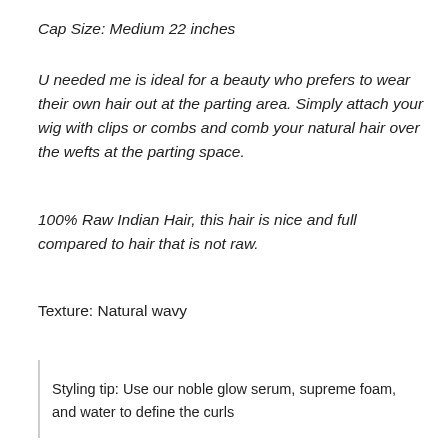Cap Size: Medium 22 inches
U needed me is ideal for a beauty who prefers to wear their own hair out at the parting area. Simply attach your wig with clips or combs and comb your natural hair over the wefts at the parting space.
100% Raw Indian Hair, this hair is nice and full compared to hair that is not raw.
Texture: Natural wavy
Styling tip: Use our noble glow serum, supreme foam, and water to define the curls